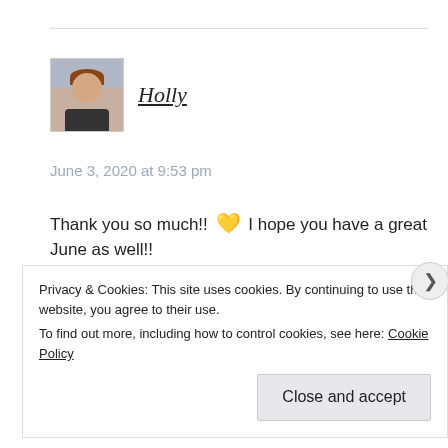[Figure (photo): Avatar photo of a person with brown hair and glasses against a light background]
Holly
June 3, 2020 at 9:53 pm
Thank you so much!! 💛 I hope you have a great June as well!!
★ Like
Privacy & Cookies: This site uses cookies. By continuing to use this website, you agree to their use.
To find out more, including how to control cookies, see here: Cookie Policy
Close and accept